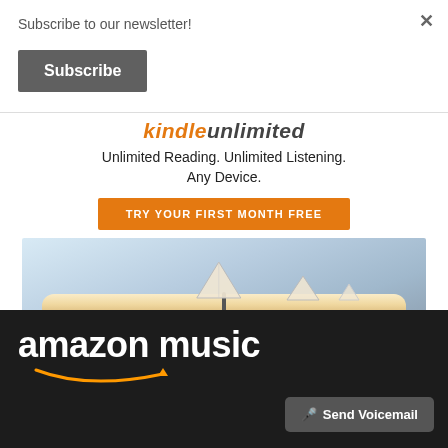Subscribe to our newsletter!
Subscribe
[Figure (infographic): Kindle Unlimited advertisement with logo, tagline, orange CTA button, and an image of an open book with paper boats]
Privacy
[Figure (logo): Amazon Music logo on dark background with white text and smile arrow, plus a Send Voicemail button]